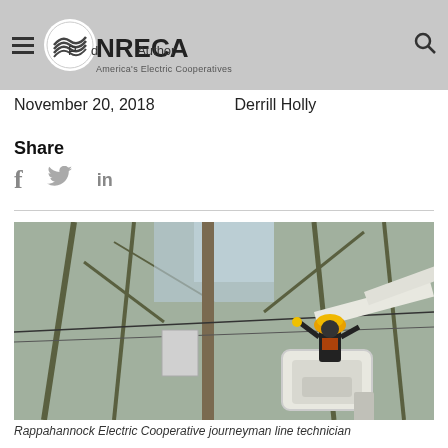NRECA — America's Electric Cooperatives
Posted   Author
November 20, 2018   Derrill Holly
Share
[Figure (photo): Rappahannock Electric Cooperative journeyman line technician working in a bucket truck among tree branches near a utility pole]
Rappahannock Electric Cooperative journeyman line technician